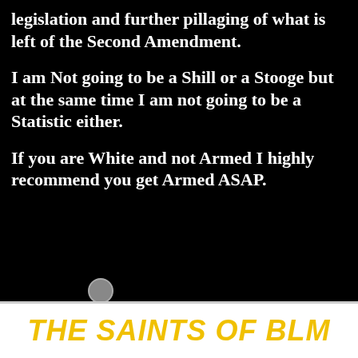legislation and further pillaging of what is left of the Second Amendment.
I am Not going to be a Shill or a Stooge but at the same time I am not going to be a Statistic either.
If you are White and not Armed I highly recommend you get Armed ASAP.
THE SAINTS OF BLM